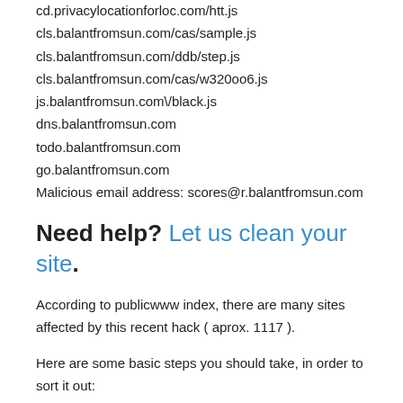cd.privacylocationforloc.com/htt.js
cls.balantfromsun.com/cas/sample.js
cls.balantfromsun.com/ddb/step.js
cls.balantfromsun.com/cas/w320oo6.js
js.balantfromsun.com\/black.js
dns.balantfromsun.com
todo.balantfromsun.com
go.balantfromsun.com
Malicious email address: scores@r.balantfromsun.com
Need help? Let us clean your site.
According to publicwww index, there are many sites affected by this recent hack ( aprox. 1117 ).
Here are some basic steps you should take, in order to sort it out: